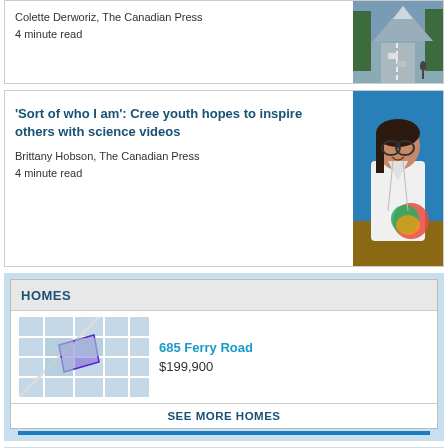Colette Derworiz, The Canadian Press
4 minute read
[Figure (photo): Mountain road scene with cars and trees]
'Sort of who I am': Cree youth hopes to inspire others with science videos
Brittany Hobson, The Canadian Press
4 minute read
[Figure (photo): Young woman in white lab coat smiling, holding colorful science materials]
HOMES
[Figure (map): Aerial map view of 685 Ferry Road property]
685 Ferry Road
$199,900
SEE MORE HOMES
[Figure (logo): The Free Press PASSAGES logo]